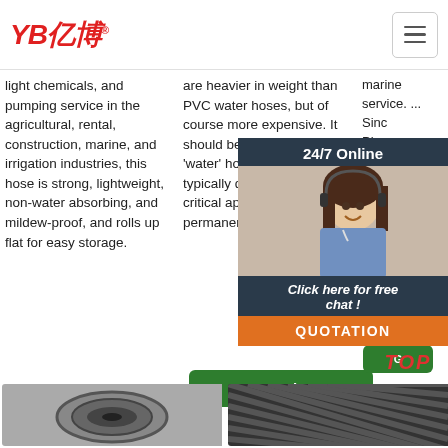[Figure (logo): YB 亿博 company logo in red italic text with registered trademark symbol]
light chemicals, and pumping service in the agricultural, rental, construction, marine, and irrigation industries, this hose is strong, lightweight, non-water absorbing, and mildew-proof, and rolls up flat for easy storage.
are heavier in weight than PVC water hoses, but of course more expensive. It should be noted that all 'water' hoses are not typically designed for critical applications or permanent ...
marine service. ... Since Pioneer Gas the of c sea the
Get Price
Get Price
G
[Figure (photo): Customer service representative with headset, 24/7 Online chat overlay panel with QUOTATION button]
[Figure (infographic): TOP button with red dot triangle arrow icon]
[Figure (photo): Bottom product images showing hoses/industrial products]